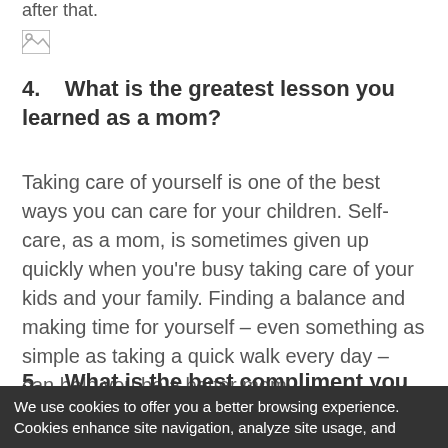after that.
[Figure (other): Small broken/placeholder image icon]
4.    What is the greatest lesson you learned as a mom?
Taking care of yourself is one of the best ways you can care for your children. Self-care, as a mom, is sometimes given up quickly when you're busy taking care of your kids and your family. Finding a balance and making time for yourself – even something as simple as taking a quick walk every day – can help you be a better mom.
5.    What is the best compliment you ever received from your kids?
We use cookies to offer you a better browsing experience. Cookies enhance site navigation, analyze site usage, and